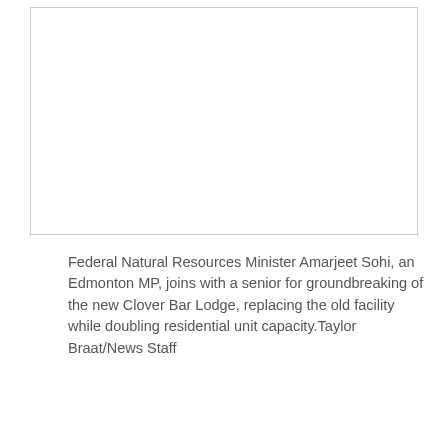[Figure (photo): A white rectangular photo placeholder with a thin gray border, representing a photograph of Federal Natural Resources Minister Amarjeet Sohi at the groundbreaking of the new Clover Bar Lodge.]
Federal Natural Resources Minister Amarjeet Sohi, an Edmonton MP, joins with a senior for groundbreaking of the new Clover Bar Lodge, replacing the old facility while doubling residential unit capacity.Taylor Braat/News Staff